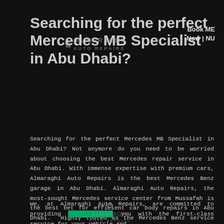Searching for the perfect Mercedes MB Specialist in Abu Dhabi?
[Figure (logo): Almaraghi Auto Repairs logo with decorative emblem icon and text ALMARAGHI in bold capital letters]
Book ME Now | NU
Searching for the perfect Mercedes MB Specialist in Abu Dhabi? Not anymore do you need to be worried about choosing the best Mercedes repair service in Abu Dhabi. With immense expertise with premium cars, Almaraghi Auto Repairs is the best Mercedes Benz garage in Abu Dhabi. Almaraghi Auto Repairs, the most-sought Mercedes service center from Mussafah is the best bet for efficient car body repairs in Abu Dhabi. Highly touted as the Mercedes Benz service from Mussafah, Almaraghi Auto Repair offers a wide range of services for your ride that keeps it running in great condition. We are the go-to experts to avail the excellent car body repairs in Abu Dhabi.
We, at Almaraghi Auto Repairs, are committed to providing you with the first-class service for your vehicle and